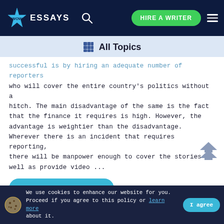WOW ESSAYS | HIRE A WRITER
All Topics
successful is by hiring an adequate number of reporters who will cover the entire country's politics without a hitch. The main disadvantage of the same is the fact that the finance it requires is high. However, the advantage is weightier than the disadvantage. Wherever there is an incident that requires reporting, there will be manpower enough to cover the stories as well as provide video ...
READ MORE
2 Pages
We use cookies to enhance our website for you. Proceed if you agree to this policy or learn more about it.